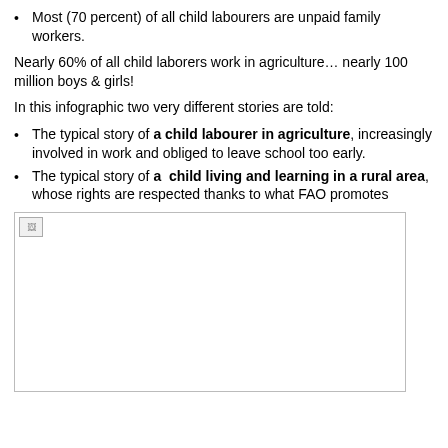Most (70 percent) of all child labourers are unpaid family workers.
Nearly 60% of all child laborers work in agriculture… nearly 100 million boys & girls!
In this infographic two very different stories are told:
The typical story of a child labourer in agriculture, increasingly involved in work and obliged to leave school too early.
The typical story of a child living and learning in a rural area, whose rights are respected thanks to what FAO promotes
[Figure (photo): Image placeholder (broken image icon visible) — infographic image not loaded]